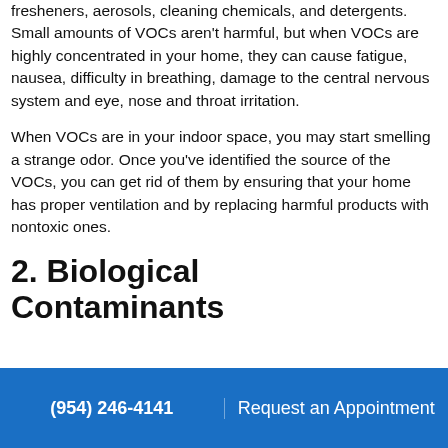fresheners, aerosols, cleaning chemicals, and detergents. Small amounts of VOCs aren't harmful, but when VOCs are highly concentrated in your home, they can cause fatigue, nausea, difficulty in breathing, damage to the central nervous system and eye, nose and throat irritation.
When VOCs are in your indoor space, you may start smelling a strange odor. Once you've identified the source of the VOCs, you can get rid of them by ensuring that your home has proper ventilation and by replacing harmful products with nontoxic ones.
2. Biological Contaminants
(954) 246-4141   Request an Appointment